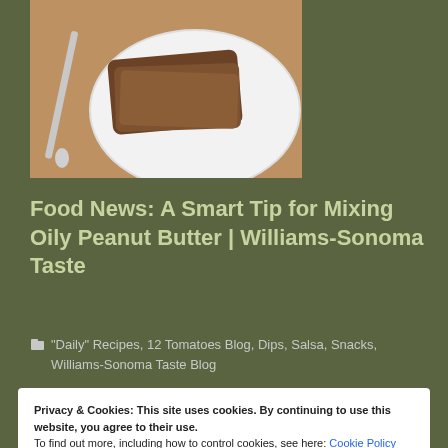[Figure (photo): Top-down photo of sliced dark bread on a white plate with a knife, on a wooden surface]
Food News: A Smart Tip for Mixing Oily Peanut Butter | Williams-Sonoma Taste
"Daily" Recipes, 12 Tomatoes Blog, Dips, Salsa, Snacks, Williams-Sonoma Taste Blog
Privacy & Cookies: This site uses cookies. By continuing to use this website, you agree to their use.
To find out more, including how to control cookies, see here: Cookie Policy
Close and accept